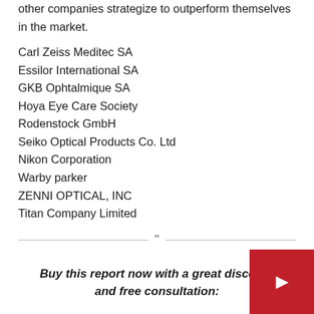other companies strategize to outperform themselves in the market.
Carl Zeiss Meditec SA
Essilor International SA
GKB Ophtalmique SA
Hoya Eye Care Society
Rodenstock GmbH
Seiko Optical Products Co. Ltd
Nikon Corporation
Warby parker
ZENNI OPTICAL, INC
Titan Company Limited
“
Buy this report now with a great discount and free consultation: